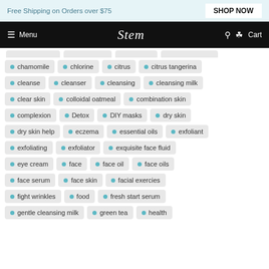Free Shipping on Orders over $75  SHOP NOW
Menu  Stem  Cart
chamomile
chlorine
citrus
citrus tangerina
cleanse
cleanser
cleansing
cleansing milk
clear skin
colloidal oatmeal
combination skin
complexion
Detox
DIY masks
dry skin
dry skin help
eczema
essential oils
exfoliant
exfoliating
exfoliator
exquisite face fluid
eye cream
face
face oil
face oils
face serum
face skin
facial exercies
fight wrinkles
food
fresh start serum
gentle cleansing milk
green tea
health